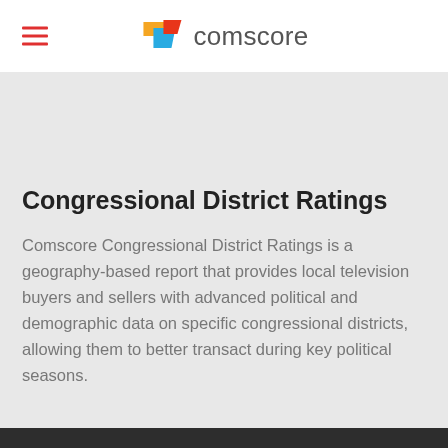comscore
[Figure (logo): Comscore logo with overlapping orange and blue/teal flag-like shapes and the word 'comscore' in gray text]
[Figure (illustration): Partial circular icon with blue and dark blue vertical stripe pattern, cropped at the top of the content area]
Congressional District Ratings
Comscore Congressional District Ratings is a geography-based report that provides local television buyers and sellers with advanced political and demographic data on specific congressional districts, allowing them to better transact during key political seasons.